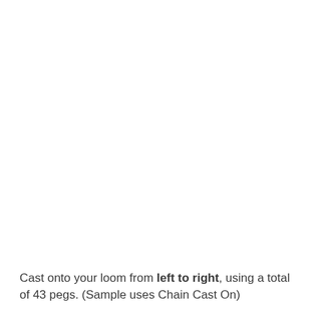Cast onto your loom from left to right, using a total of 43 pegs. (Sample uses Chain Cast On)